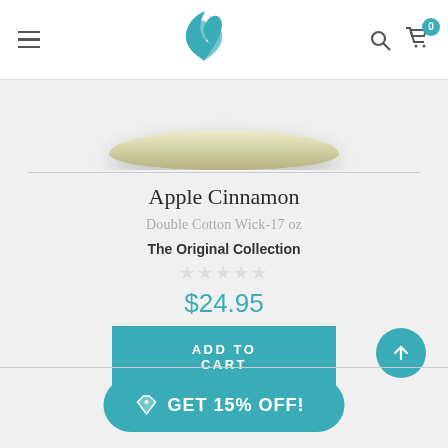Navigation header with menu icon, brand logo, search icon, and cart icon with badge 0
[Figure (photo): Top portion of a cream/ivory candle jar lid, showing the rounded elliptical top edge with a soft gradient]
Apple Cinnamon
Double Cotton Wick-17 oz
The Original Collection
☆☆☆☆☆ (5 empty stars rating)
$24.95
ADD TO CART
GET 15% OFF!